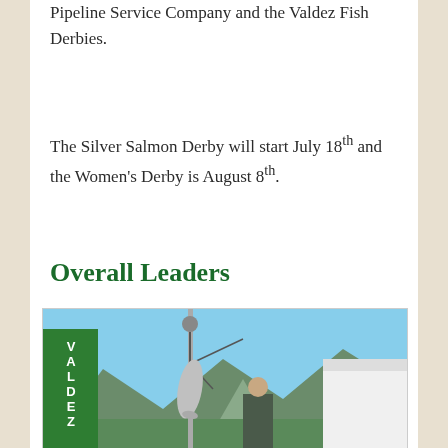Pipeline Service Company and the Valdez Fish Derbies.
The Silver Salmon Derby will start July 18th and the Women's Derby is August 8th.
Overall Leaders
[Figure (photo): A person standing next to a large fish hanging from a scale/hook at what appears to be a Valdez, AK fishing derby weigh station. A green sign reading VALDEZ AK is visible on the left. Mountains and blue sky are in the background.]